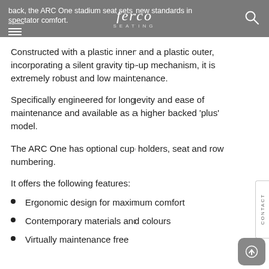back, the ARC One stadium seat sets new standards in spectator comfort. ferco SEATING
Constructed with a plastic inner and a plastic outer, incorporating a silent gravity tip-up mechanism, it is extremely robust and low maintenance.
Specifically engineered for longevity and ease of maintenance and available as a higher backed 'plus' model.
The ARC One has optional cup holders, seat and row numbering.
It offers the following features:
Ergonomic design for maximum comfort
Contemporary materials and colours
Virtually maintenance free